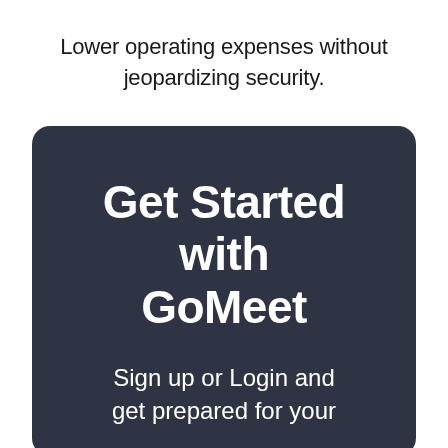Lower operating expenses without jeopardizing security.
Get Started with GoMeet
Sign up or Login and get prepared for your